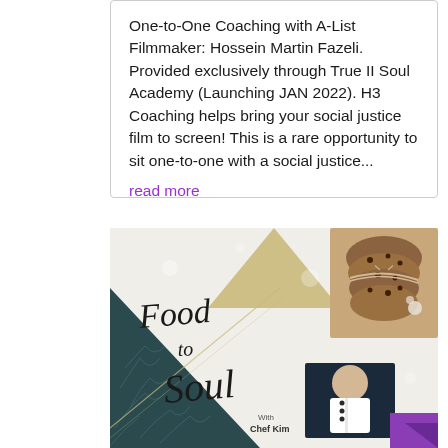One-to-One Coaching with A-List Filmmaker: Hossein Martin Fazeli. Provided exclusively through True II Soul Academy (Launching JAN 2022). H3 Coaching helps bring your social justice film to screen! This is a rare opportunity to sit one-to-one with a social justice...
read more
[Figure (illustration): Food to Soul promotional graphic with cursive script text 'Food to Soul' on a light background with a gold triangle at top, dark teal corner with botanical illustration at left, cookies tied with twine at upper right, and a photo of Chef Kim (woman in chef's whites) at lower right with a purple triangle accent.]